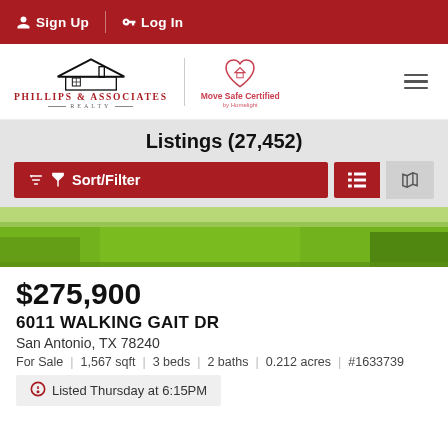Sign Up | Log In
[Figure (logo): Phillips & Associates Realty logo with house icon and Move Safe Certified badge]
Listings (27,452)
[Figure (photo): Green lawn grass property photo strip]
$275,900
6011 WALKING GAIT DR
San Antonio, TX 78240
For Sale | 1,567 sqft | 3 beds | 2 baths | 0.212 acres | #1633739
Listed Thursday at 6:15PM